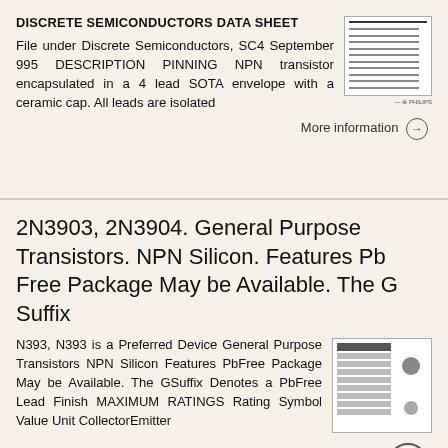DISCRETE SEMICONDUCTORS DATA SHEET
File under Discrete Semiconductors, SC4 September 995 DESCRIPTION PINNING NPN transistor encapsulated in a 4 lead SOTA envelope with a ceramic cap. All leads are isolated
More information →
2N3903, 2N3904. General Purpose Transistors. NPN Silicon. Features Pb Free Package May be Available. The G Suffix
N393, N393 is a Preferred Device General Purpose Transistors NPN Silicon Features PbFree Package May be Available. The GSuffix Denotes a PbFree Lead Finish MAXIMUM RATINGS Rating Symbol Value Unit CollectorEmitter
More information →